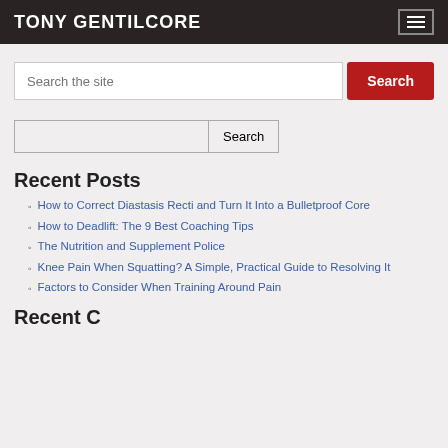TONY GENTILCORE
Search the site
Search (secondary)
Recent Posts
How to Correct Diastasis Recti and Turn It Into a Bulletproof Core
How to Deadlift: The 9 Best Coaching Tips
The Nutrition and Supplement Police
Knee Pain When Squatting? A Simple, Practical Guide to Resolving It
Factors to Consider When Training Around Pain
Recent Comments